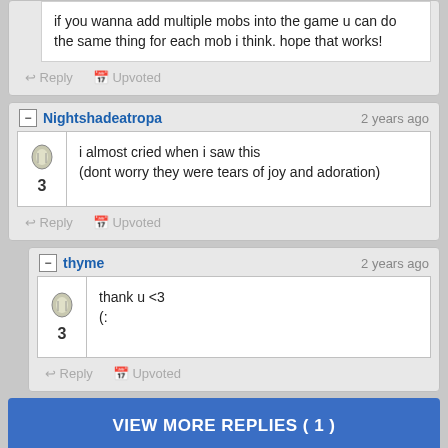if you wanna add multiple mobs into the game u can do the same thing for each mob i think. hope that works!
Reply  Upvoted
Nightshadeatropa  2 years ago
i almost cried when i saw this
(dont worry they were tears of joy and adoration)
Reply  Upvoted
thyme  2 years ago
thank u <3
(:
Reply  Upvoted
VIEW MORE REPLIES ( 1 )
JOIN PLANET MINECRAFT!
We're a community of creatives sharing everything Minecraft! Even if you don't post your own creations, we appreciate feedback on ours. Join us!